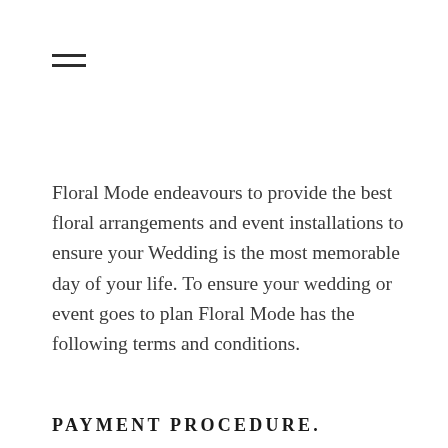[Figure (other): Hamburger menu icon with two horizontal lines]
Floral Mode endeavours to provide the best floral arrangements and event installations to ensure your Wedding is the most memorable day of your life. To ensure your wedding or event goes to plan Floral Mode has the following terms and conditions.
PAYMENT PROCEDURE.